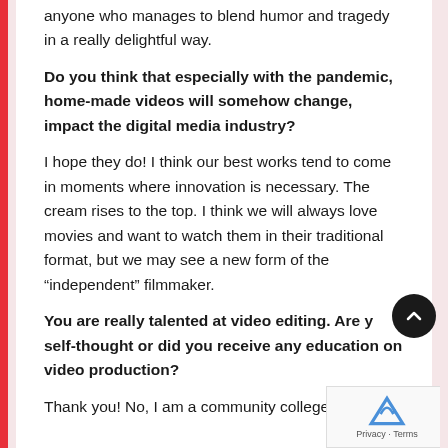anyone who manages to blend humor and tragedy in a really delightful way.
Do you think that especially with the pandemic, home-made videos will somehow change, impact the digital media industry?
I hope they do! I think our best works tend to come in moments where innovation is necessary. The cream rises to the top. I think we will always love movies and want to watch them in their traditional format, but we may see a new form of the “independent” filmmaker.
You are really talented at video editing. Are you self-thought or did you receive any education on video production?
Thank you! No, I am a community college drop-out,